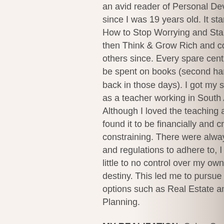an avid reader of Personal Development since I was 19 years old. It started with the How to Stop Worrying and Start Living, then Think & Grow Rich and countless others since. Every spare cent I had would be spent on books (second hand books back in those days). I got my start initially as a teacher working in South Africa. Although I loved the teaching aspect, I found it to be financially and creatively constraining. There were always new rules and regulations to adhere to, I felt I had little to no control over my own time and destiny. This led me to pursue other options such as Real Estate and Financial Planning.
MY REALIZATION: Colon Cancer in 2007 was my blessing in disguise. After a year of hell on earth and losing my momentum in the world, I decided to throw caution to the wind and travel overseas. Cancer taught me that